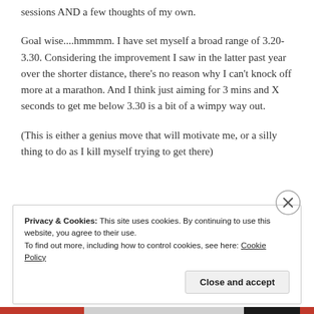sessions AND a few thoughts of my own.
Goal wise....hmmmm. I have set myself a broad range of 3.20-3.30. Considering the improvement I saw in the latter past year over the shorter distance, there’s no reason why I can’t knock off more at a marathon. And I think just aiming for 3 mins and X seconds to get me below 3.30 is a bit of a wimpy way out.
(This is either a genius move that will motivate me, or a silly thing to do as I kill myself trying to get there)
Privacy & Cookies: This site uses cookies. By continuing to use this website, you agree to their use.
To find out more, including how to control cookies, see here: Cookie Policy
Close and accept